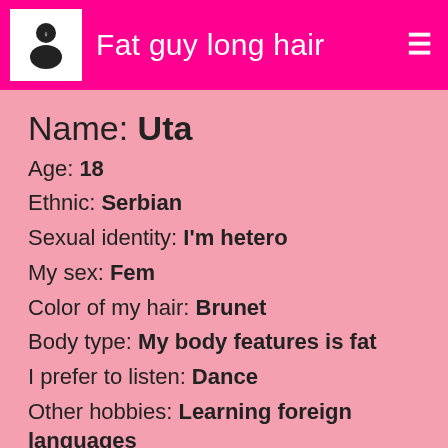Fat guy long hair
Name: Uta
Age: 18
Ethnic: Serbian
Sexual identity: I'm hetero
My sex: Fem
Color of my hair: Brunet
Body type: My body features is fat
I prefer to listen: Dance
Other hobbies: Learning foreign languages
[Figure (illustration): Green chat bubble and thumbs-up icons at the bottom of the profile card]